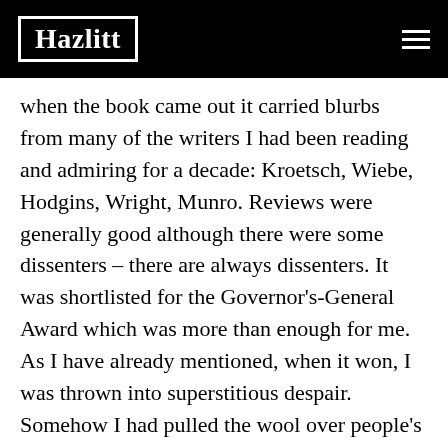Hazlitt
when the book came out it carried blurbs from many of the writers I had been reading and admiring for a decade: Kroetsch, Wiebe, Hodgins, Wright, Munro. Reviews were generally good although there were some dissenters – there are always dissenters. It was shortlisted for the Governor's-General Award which was more than enough for me. As I have already mentioned, when it won, I was thrown into superstitious despair. Somehow I had pulled the wool over people's eyes and I was going to pay for it. Then Margaret Laurence's letter arrived, I took heart and went back to work, hopeful that some day I might write a better book, one more deserving of praise.